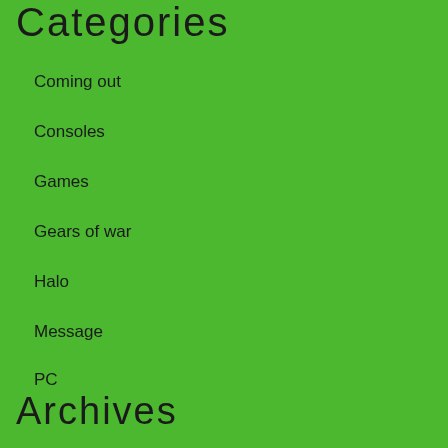Categories
Coming out
Consoles
Games
Gears of war
Halo
Message
PC
Archives